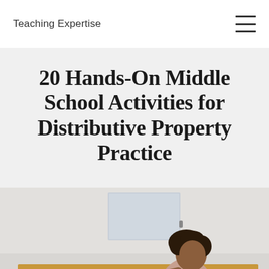Teaching Expertise
20 Hands-On Middle School Activities for Distributive Property Practice
[Figure (photo): A child with curly hair leaning over a wooden desk or shelf, viewed from the side, in a light-colored room]